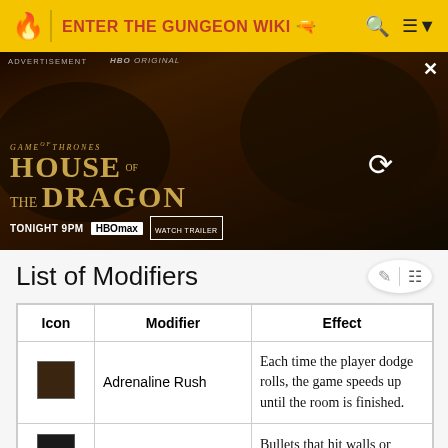ENTER THE GUNGEON WIKI
[Figure (photo): Advertisement banner for House of the Dragon HBO Max series, showing 'TONIGHT 9PM | HBOmax | WATCH TRAILER']
List of Modifiers
| Icon | Modifier | Effect |
| --- | --- | --- |
| [icon] | Adrenaline Rush | Each time the player dodge rolls, the game speeds up until the room is finished. |
| [icon] | Blobulin Rancher | Bullets that hit walls or objects will have a chance |